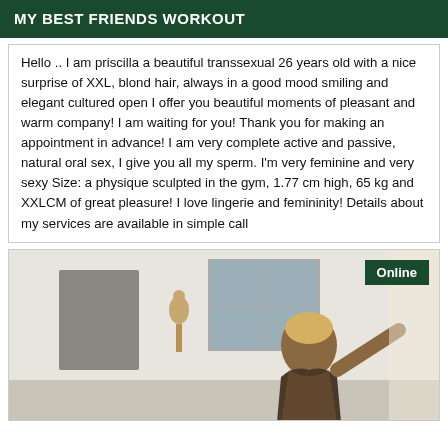MY BEST FRIENDS WORKOUT
Hello .. I am priscilla a beautiful transsexual 26 years old with a nice surprise of XXL, blond hair, always in a good mood smiling and elegant cultured open I offer you beautiful moments of pleasant and warm company! I am waiting for you! Thank you for making an appointment in advance! I am very complete active and passive, natural oral sex, I give you all my sperm. I'm very feminine and very sexy Size: a physique sculpted in the gym, 1.77 cm high, 65 kg and XXLCM of great pleasure! I love lingerie and femininity! Details about my services are available in simple call
[Figure (photo): Indoor photo showing a person with blonde hair wearing a patterned outfit, with a room interior background including a window and a decorative vase/guitar on the wall. An 'Online' badge appears in the top right corner.]